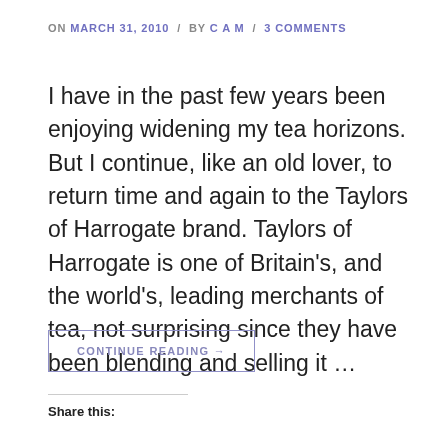ON MARCH 31, 2010 / BY CAM / 3 COMMENTS
I have in the past few years been enjoying widening my tea horizons. But I continue, like an old lover, to return time and again to the Taylors of Harrogate brand. Taylors of Harrogate is one of Britain's, and the world's, leading merchants of tea, not surprising since they have been blending and selling it …
CONTINUE READING →
Share this: